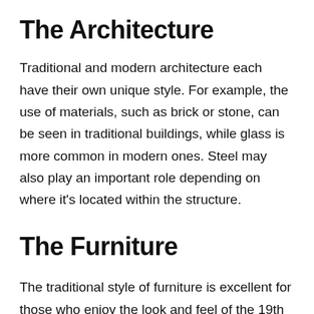The Architecture
Traditional and modern architecture each have their own unique style. For example, the use of materials, such as brick or stone, can be seen in traditional buildings, while glass is more common in modern ones. Steel may also play an important role depending on where it's located within the structure.
The Furniture
The traditional style of furniture is excellent for those who enjoy the look and feel of the 19th century or older. Furniture from this time period tends to be